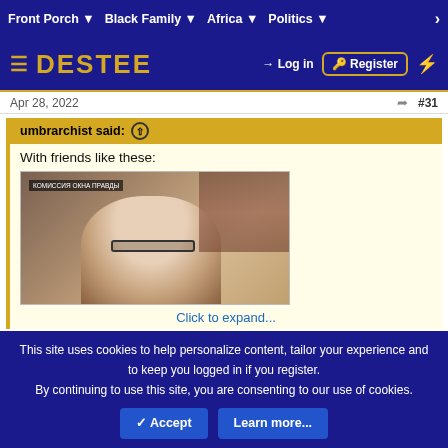Front Porch ▼   Black Family ▼   Africa ▼   Politics ▼   >
[Figure (logo): DESTEE website logo bar with hamburger menu, Log in, Register, and lightning bolt icons]
Apr 28, 2022   #31
umbrarchist said: ↑
With friends like these:
[Figure (photo): A man with glasses and gray beard sitting in front of a bookshelf, video still from news broadcast with lower-third chyron text]
Click to expand...
This site uses cookies to help personalize content, tailor your experience and to keep you logged in if you register.
By continuing to use this site, you are consenting to our use of cookies.
✓ Accept   Learn more...
I watched this vi...somewhere.... thank you!
→  🔑  [icons: mail, document, lock, info, home]